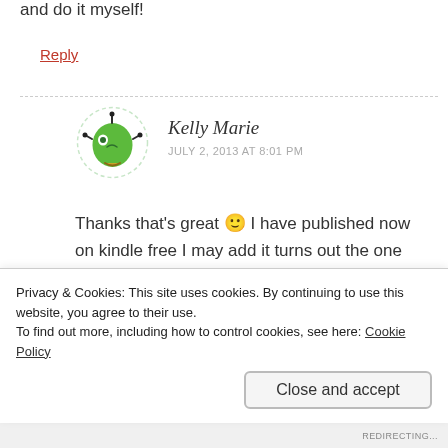and do it myself!
Reply
Kelly Marie
JULY 2, 2013 AT 8:01 PM
Thanks that's great 🙂 I have published now on kindle free I may add it turns out the one that was charging me was a different company called Kindle that provide vain
Privacy & Cookies: This site uses cookies. By continuing to use this website, you agree to their use.
To find out more, including how to control cookies, see here: Cookie Policy
Close and accept